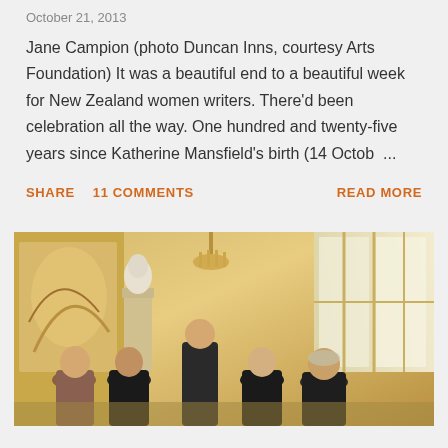October 21, 2013
Jane Campion (photo Duncan Inns, courtesy Arts Foundation) It was a beautiful end to a beautiful week for New Zealand women writers. There'd been celebration all the way. One hundred and twenty-five years since Katherine Mansfield's birth (14 Octob ...
SHARE   11 COMMENTS   READ MORE
[Figure (photo): Group of women posing inside an ornate room with gold decor, a marble bust on a pedestal, and tall windows in the background.]